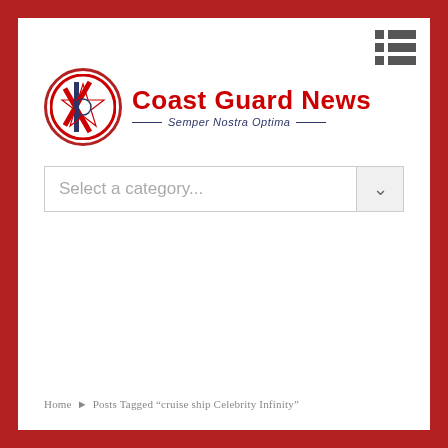[Figure (logo): Coast Guard News logo with circular emblem on left and red bold title 'Coast Guard News' with italic subtitle 'Semper Nostra Optima' on right]
Select a category...
Home ▶ Posts Tagged "cruise ship Celebrity Infinity"